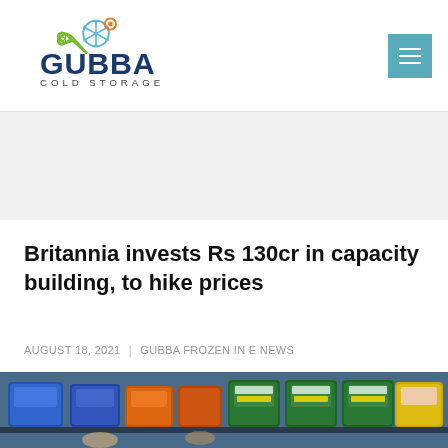Gubba Cold Storage
Britannia invests Rs 130cr in capacity building, to hike prices
AUGUST 18, 2021 | GUBBA FROZEN IN E NEWS
[Figure (photo): Shelves stocked with Britannia biscuit and snack packets in blue, orange, and green packaging]